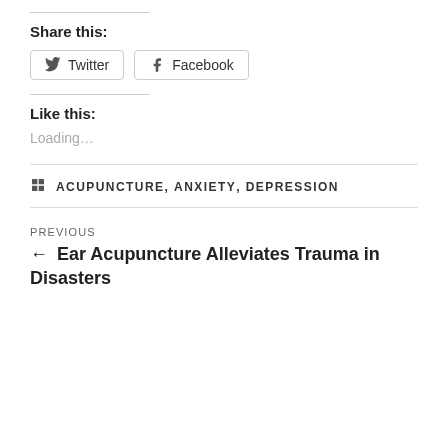Share this:
Twitter  Facebook
Like this:
Loading…
ACUPUNCTURE, ANXIETY, DEPRESSION
PREVIOUS
← Ear Acupuncture Alleviates Trauma in Disasters